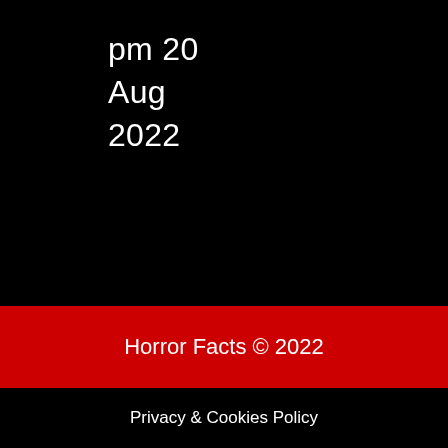pm 20 Aug 2022
Horror Facts © 2022
Privacy & Cookies Policy